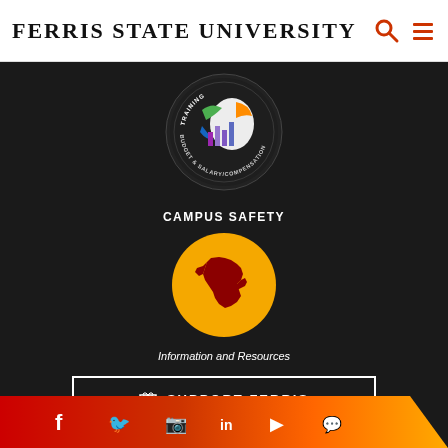Ferris State University
[Figure (logo): Circular logo with Michigan state outline, colorful bar charts, and text reading TRAINING BUDGET & SALARY/COMPENSATION around the border]
CAMPUS SAFETY
[Figure (logo): Yellow circle containing red Michigan state silhouette — Campus Safety logo]
Information and Resources
🎁 SUPPORT FERRIS
[Figure (other): Social media icons bar with red-to-orange gradient: Facebook, Twitter, Instagram, LinkedIn, YouTube, and another icon]